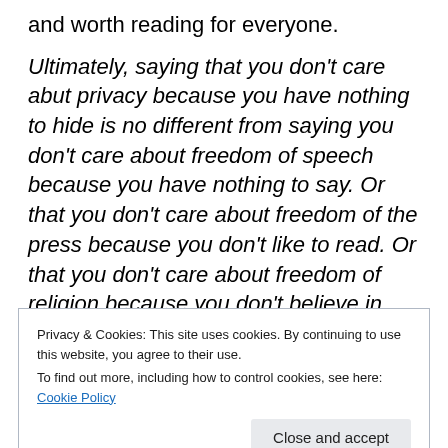and worth reading for everyone.
Ultimately, saying that you don't care abut privacy because you have nothing to hide is no different from saying you don't care about freedom of speech because you have nothing to say. Or that you don't care about freedom of the press because you don't like to read. Or that you don't care about freedom of religion because you don't believe in God. Or that you don't care about the freedom to peaceably assemble because you're a lazy, antisocial agoraphobe. Just because this or that freedom might not
Privacy & Cookies: This site uses cookies. By continuing to use this website, you agree to their use.
To find out more, including how to control cookies, see here: Cookie Policy
freedom that you personally may describ discussing the